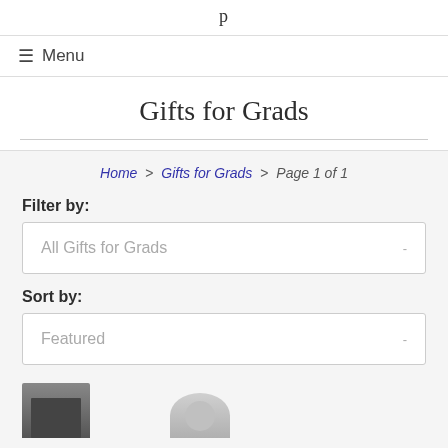≡  Menu
Gifts for Grads
Home > Gifts for Grads > Page 1 of 1
Filter by:
All Gifts for Grads
Sort by:
Featured
[Figure (photo): Two product thumbnails partially visible at the bottom of the page]